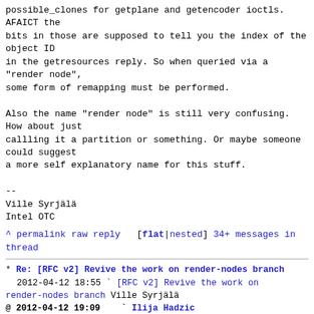possible_clones for getplane and getencoder ioctls. AFAICT the bits in those are supposed to tell you the index of the object ID in the getresources reply. So when queried via a "render node", some form of remapping must be performed.

Also the name "render node" is still very confusing. How about just callling it a partition or something. Or maybe someone could suggest a more self explanatory name for this stuff.

--
Ville Syrjälä
Intel OTC
^ permalink raw reply   [flat|nested] 34+ messages in thread
* Re: [RFC v2] Revive the work on render-nodes branch
  2012-04-12 18:55 ` [RFC v2] Revive the work on render-nodes branch Ville Syrjälä
@ 2012-04-12 19:09   ` Ilija Hadzic
  0 siblings, 0 replies; 34+ messages in thread
From: Ilija Hadzic @ 2012-04-12 19:09 UTC (permalink / raw)
  To: Ville Syrjälä; +Cc: dri-devel